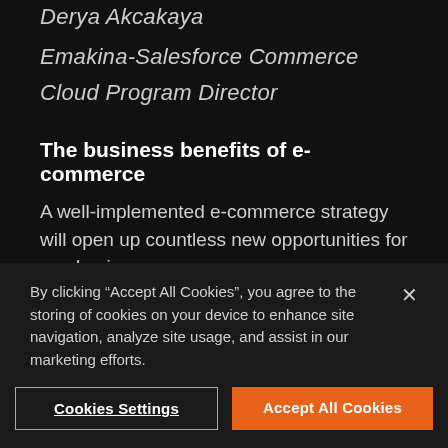Derya Akcakaya
Emakina-Salesforce Commerce
Cloud Program Director
The business benefits of e-commerce
A well-implemented e-commerce strategy will open up countless new opportunities for any business.
Much more than “just a new touchpoint”, a successful e-commerce platform will help you
By clicking “Accept All Cookies”, you agree to the storing of cookies on your device to enhance site navigation, analyze site usage, and assist in our marketing efforts.